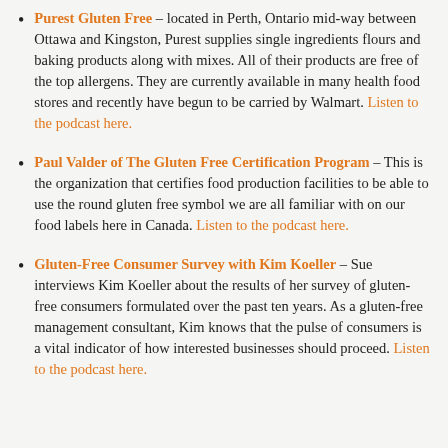Purest Gluten Free – located in Perth, Ontario mid-way between Ottawa and Kingston, Purest supplies single ingredients flours and baking products along with mixes. All of their products are free of the top allergens. They are currently available in many health food stores and recently have begun to be carried by Walmart. Listen to the podcast here.
Paul Valder of The Gluten Free Certification Program – This is the organization that certifies food production facilities to be able to use the round gluten free symbol we are all familiar with on our food labels here in Canada. Listen to the podcast here.
Gluten-Free Consumer Survey with Kim Koeller – Sue interviews Kim Koeller about the results of her survey of gluten-free consumers formulated over the past ten years. As a gluten-free management consultant, Kim knows that the pulse of consumers is a vital indicator of how interested businesses should proceed. Listen to the podcast here.